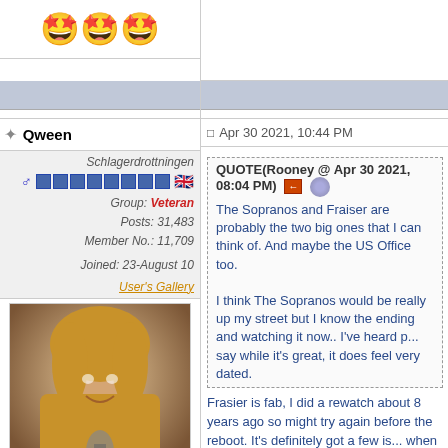[Figure (photo): Emoji faces row at top of left column]
Qween
Apr 30 2021, 10:44 PM
Schlagerdrottningen
Group: Veteran
Posts: 31,483
Member No.: 11,709
Joined: 23-August 10
User's Gallery
[Figure (photo): Profile photo of woman with blonde hair singing into microphone]
[Figure (illustration): Emoji badges: woman, princess, woman, trophy]
QUOTE(Rooney @ Apr 30 2021, 08:04 PM) The Sopranos and Fraiser are probably the two big ones that I can think of. And maybe the US Office too.

I think The Sopranos would be really up my street but I know the ending and watching it now.. I've heard people say while it's great, it does feel very dated.
Frasier is fab, I did a rewatch about 8 years ago so might try again before the reboot. It's definitely got a few issues when looked at from 2021 (Roz being endlessly Sl*t shamed, Nils being quite uncomfortably into Daphne) but well worth it.